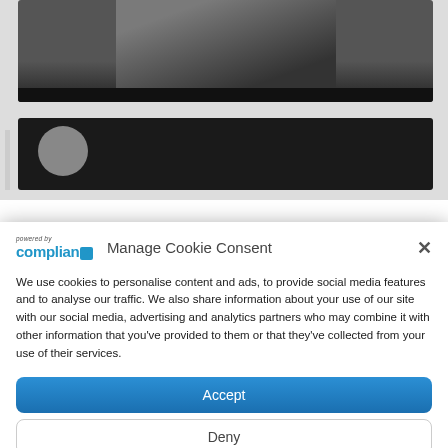[Figure (screenshot): Background showing two blurred video thumbnails partially visible behind a cookie consent modal overlay.]
[Figure (screenshot): Cookie consent modal dialog with Complian Z logo, title 'Manage Cookie Consent', close button, descriptive text about cookies, Accept and Deny buttons.]
Manage Cookie Consent
We use cookies to personalise content and ads, to provide social media features and to analyse our traffic. We also share information about your use of our site with our social media, advertising and analytics partners who may combine it with other information that you've provided to them or that they've collected from your use of their services.
[Figure (infographic): Social sharing bar at bottom with icons for Facebook, Twitter, LinkedIn, Pinterest, Reddit, WhatsApp, Flipboard, Email, Telegram, and another social platform.]